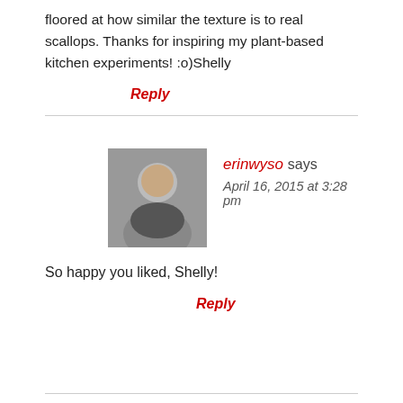floored at how similar the texture is to real scallops. Thanks for inspiring my plant-based kitchen experiments! :o)Shelly
Reply
[Figure (photo): Avatar photo of erinwyso, a person holding a cat]
erinwyso says
April 16, 2015 at 3:28 pm
So happy you liked, Shelly!
Reply
[Figure (photo): Gray placeholder avatar silhouette for Nikki]
Nikki says
April 13, 2017 at 7:28 pm